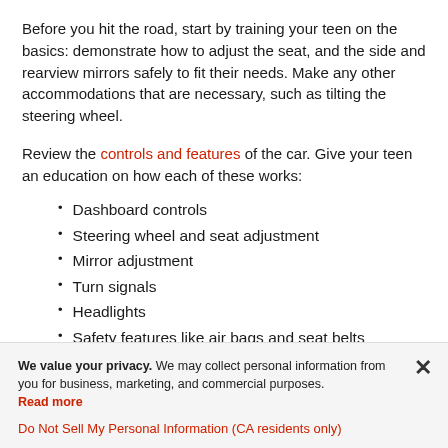Before you hit the road, start by training your teen on the basics: demonstrate how to adjust the seat, and the side and rearview mirrors safely to fit their needs. Make any other accommodations that are necessary, such as tilting the steering wheel.
Review the controls and features of the car. Give your teen an education on how each of these works:
Dashboard controls
Steering wheel and seat adjustment
Mirror adjustment
Turn signals
Headlights
Safety features like air bags and seat belts
We value your privacy. We may collect personal information from you for business, marketing, and commercial purposes. Read more
Do Not Sell My Personal Information (CA residents only)